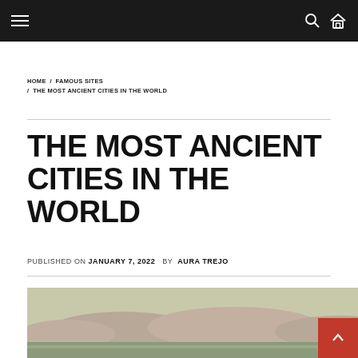Navigation bar with hamburger menu, search icon, and home icon
HOME / FAMOUS SITES / THE MOST ANCIENT CITIES IN THE WORLD
THE MOST ANCIENT CITIES IN THE WORLD
PUBLISHED ON JANUARY 7, 2022  BY AURA TREJO
[Figure (photo): Landscape photo showing ancient terrain with mountains in the distance, muted earthy tones of green, sand, and rose.]